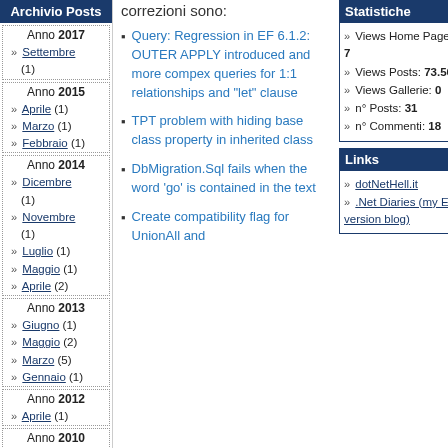Archivio Posts
Anno 2017
Settembre (1)
Anno 2015
Aprile (1)
Marzo (1)
Febbraio (1)
Anno 2014
Dicembre (1)
Novembre (1)
Luglio (1)
Maggio (1)
Aprile (2)
Anno 2013
Giugno (1)
Maggio (2)
Marzo (5)
Gennaio (1)
Anno 2012
Aprile (1)
Anno 2010
Dicembre (2)
correzioni sono:
Query: Regression in EF 6.1.2: OUTER APPLY introduced and more compex queries for 1:1 relationships and "let" clause
TPT problem with hiding base class property in inherited class
DbMigration.Sql fails when the word 'go' is contained in the text
Create compatibility flag for UnionAll and
Statistiche
Views Home Page: 7
Views Posts: 73.569
Views Gallerie: 0
n° Posts: 31
n° Commenti: 18
Links
dotNetHell.it
.Net Diaries (my En version blog)